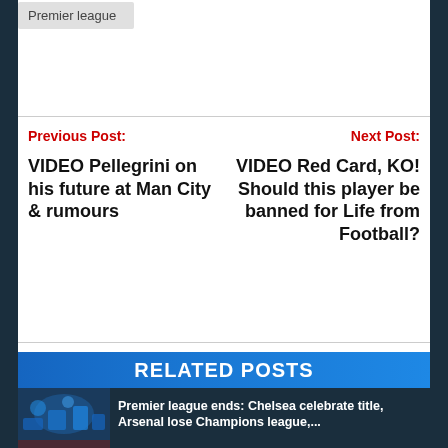Premier league
Previous Post:
Next Post:
VIDEO Pellegrini on his future at Man City & rumours
VIDEO Red Card, KO! Should this player be banned for Life from Football?
RELATED POSTS
Premier league ends: Chelsea celebrate title, Arsenal lose Champions league,...
Sanchez double lifts Gunners past Sunderland, Man City beat WBA